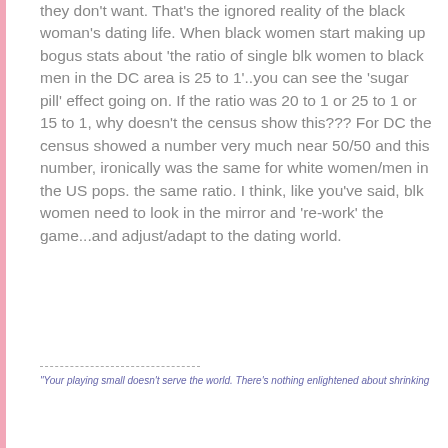they don't want. That's the ignored reality of the black woman's dating life. When black women start making up bogus stats about 'the ratio of single blk women to black men in the DC area is 25 to 1'..you can see the 'sugar pill' effect going on. If the ratio was 20 to 1 or 25 to 1 or 15 to 1, why doesn't the census show this??? For DC the census showed a number very much near 50/50 and this number, ironically was the same for white women/men in the US pops. the same ratio. I think, like you've said, blk women need to look in the mirror and 're-work' the game...and adjust/adapt to the dating world.
"Your playing small doesn't serve the world. There's nothing enlightened about shrinking